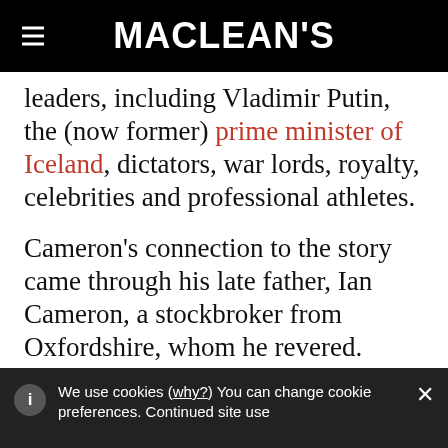MACLEAN'S
leaders, including Vladimir Putin, the (now former) prime minister of Iceland, dictators, war lords, royalty, celebrities and professional athletes.
Cameron's connection to the story came through his late father, Ian Cameron, a stockbroker from Oxfordshire, whom he revered. Cameron Sr. was born to great struggle (in the form of congenital physical disability) and great privilege (in the form
We use cookies (why?) You can change cookie preferences. Continued site use